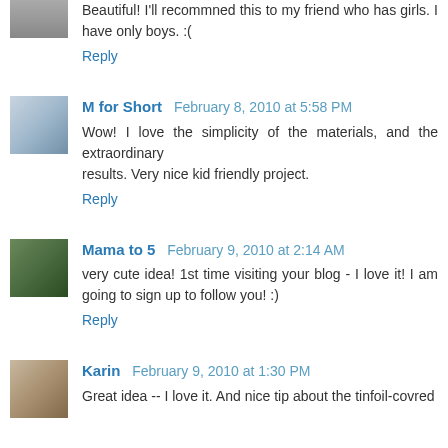Beautiful! I'll recommned this to my friend who has girls. I have only boys. :(
Reply
M for Short  February 8, 2010 at 5:58 PM
Wow! I love the simplicity of the materials, and the extraordinary results. Very nice kid friendly project.
Reply
Mama to 5  February 9, 2010 at 2:14 AM
very cute idea! 1st time visiting your blog - I love it! I am going to sign up to follow you! :)
Reply
Karin  February 9, 2010 at 1:30 PM
Great idea -- I love it. And nice tip about the tinfoil-covred